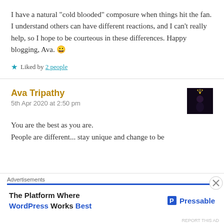I have a natural "cold blooded" composure when things hit the fan. I understand others can have different reactions, and I can't really help, so I hope to be courteous in these differences. Happy blogging, Ava. 😀
★ Liked by 2 people
Ava Tripathy
5th Apr 2020 at 2:50 pm
You are the best as you are.
People are different... stay unique and change to be
Advertisements
The Platform Where WordPress Works Best   Pressable